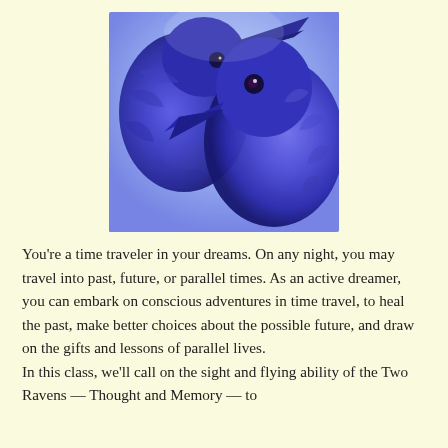[Figure (photo): Close-up photo of two ravens with blue-purple toned feathers and beaks against a light sky background, stylized with blue/purple color overlay]
You're a time traveler in your dreams. On any night, you may travel into past, future, or parallel times. As an active dreamer, you can embark on conscious adventures in time travel, to heal the past, make better choices about the possible future, and draw on the gifts and lessons of parallel lives.
In this class, we'll call on the sight and flying ability of the Two Ravens — Thought and Memory — to